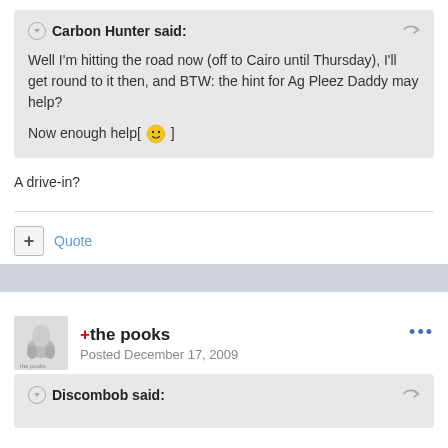Carbon Hunter said:
Well I'm hitting the road now (off to Cairo until Thursday), I'll get round to it then, and BTW: the hint for Ag Pleez Daddy may help?

Now enough help[ :) ]
A drive-in?
Quote
+the pooks
Posted December 17, 2009
Discombob said: